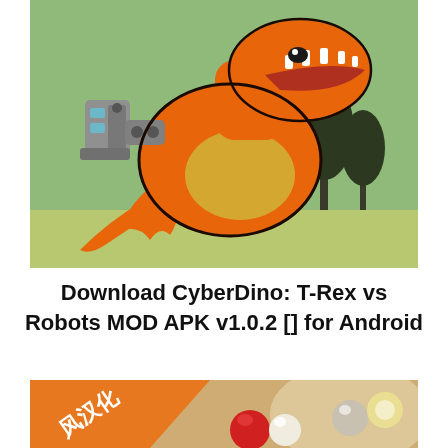[Figure (illustration): Cartoon illustration of an orange T-Rex dinosaur with robotic mechanical arms/weapons attached, open mouth showing teeth, against a green jungle background with palm trees silhouettes]
Download CyberDino: T-Rex vs Robots MOD APK v1.0.2 [] for Android
[Figure (illustration): Partial image showing a Chinese localization badge (orange diagonal banner with Chinese characters 风汉化) and a game scene with red and white spherical characters on a warm beige/tan background]